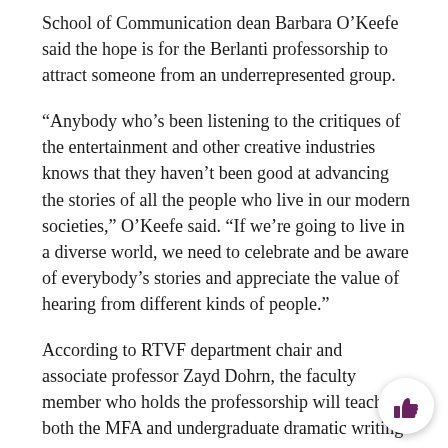School of Communication dean Barbara O’Keefe said the hope is for the Berlanti professorship to attract someone from an underrepresented group.
“Anybody who’s been listening to the critiques of the entertainment and other creative industries knows that they haven’t been good at advancing the stories of all the people who live in our modern societies,” O’Keefe said. “If we’re going to live in a diverse world, we need to celebrate and be aware of everybody’s stories and appreciate the value of hearing from different kinds of people.”
According to RTVF department chair and associate professor Zayd Dohrn, the faculty member who holds the professorship will teach in both the MFA and undergraduate dramatic writing programs.
Dohrn said over the past decade, he has seen an increased